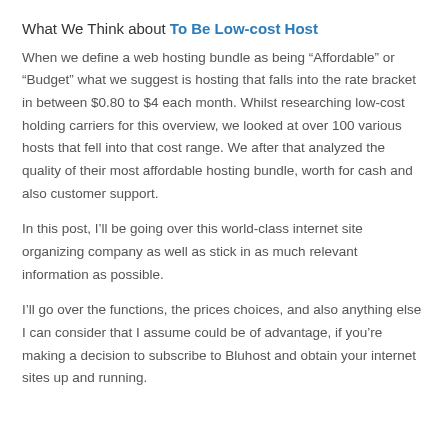What We Think about To Be Low-cost Host
When we define a web hosting bundle as being “Affordable” or “Budget” what we suggest is hosting that falls into the rate bracket in between $0.80 to $4 each month. Whilst researching low-cost holding carriers for this overview, we looked at over 100 various hosts that fell into that cost range. We after that analyzed the quality of their most affordable hosting bundle, worth for cash and also customer support.
In this post, I’ll be going over this world-class internet site organizing company as well as stick in as much relevant information as possible.
I’ll go over the functions, the prices choices, and also anything else I can consider that I assume could be of advantage, if you’re making a decision to subscribe to Bluhost and obtain your internet sites up and running.